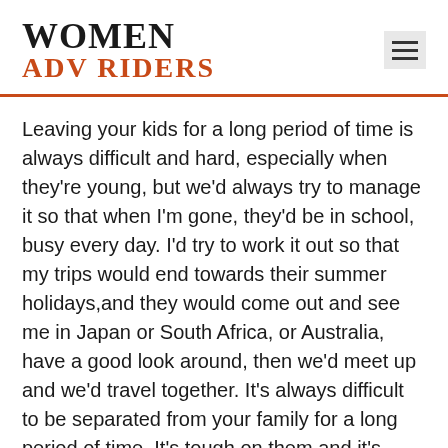WOMEN ADV RIDERS
Leaving your kids for a long period of time is always difficult and hard, especially when they're young, but we'd always try to manage it so that when I'm gone, they'd be in school, busy every day. I'd try to work it out so that my trips would end towards their summer holidays,and they would come out and see me in Japan or South Africa, or Australia, have a good look around, then we'd meet up and we'd travel together. It's always difficult to be separated from your family for a long period of time. It's tough on them and it's tough on me.